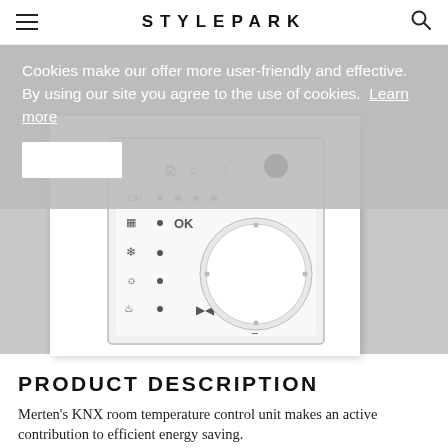STYLEPARK
Cookies make our offer more user-friendly and effective. By using our site you agree to the use of cookies. Learn more
[Figure (photo): Merten KNX room temperature control unit thermostat device with dial, mode icons and display, shown in white with a square frame, on grey background]
PRODUCT DESCRIPTION
Merten's KNX room temperature control unit makes an active contribution to efficient energy saving.